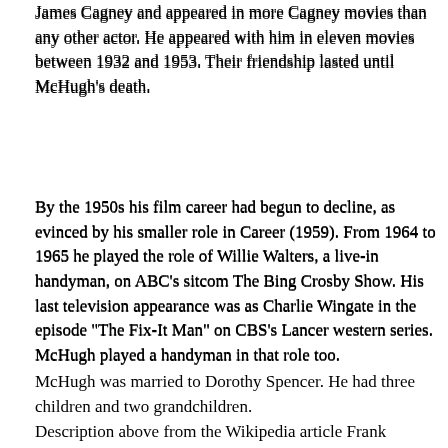James Cagney and appeared in more Cagney movies than any other actor. He appeared with him in eleven movies between 1932 and 1953. Their friendship lasted until McHugh's death.
By the 1950s his film career had begun to decline, as evinced by his smaller role in Career (1959). From 1964 to 1965 he played the role of Willie Walters, a live-in handyman, on ABC's sitcom The Bing Crosby Show. His last television appearance was as Charlie Wingate in the episode "The Fix-It Man" on CBS's Lancer western series. McHugh played a handyman in that role too.
McHugh was married to Dorothy Spencer. He had three children and two grandchildren.
Description above from the Wikipedia article Frank McHugh, licensed under CC-BY-SA, full list of contributors